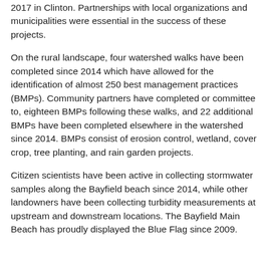2017 in Clinton. Partnerships with local organizations and municipalities were essential in the success of these projects.
On the rural landscape, four watershed walks have been completed since 2014 which have allowed for the identification of almost 250 best management practices (BMPs). Community partners have completed or committee to, eighteen BMPs following these walks, and 22 additional BMPs have been completed elsewhere in the watershed since 2014. BMPs consist of erosion control, wetland, cover crop, tree planting, and rain garden projects.
Citizen scientists have been active in collecting stormwater samples along the Bayfield beach since 2014, while other landowners have been collecting turbidity measurements at upstream and downstream locations. The Bayfield Main Beach has proudly displayed the Blue Flag since 2009.